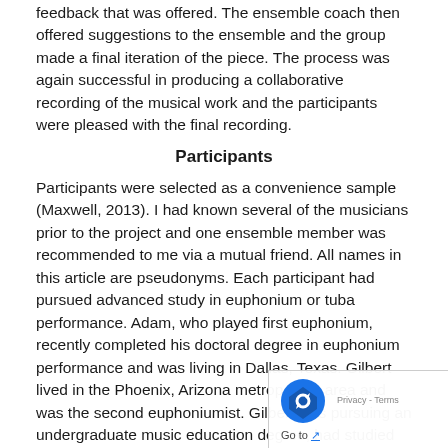feedback that was offered. The ensemble coach then offered suggestions to the ensemble and the group made a final iteration of the piece. The process was again successful in producing a collaborative recording of the musical work and the participants were pleased with the final recording.
Participants
Participants were selected as a convenience sample (Maxwell, 2013). I had known several of the musicians prior to the project and one ensemble member was recommended to me via a mutual friend. All names in this article are pseudonyms. Each participant had pursued advanced study in euphonium or tuba performance. Adam, who played first euphonium, recently completed his doctoral degree in euphonium performance and was living in Dallas, Texas. Gilbert lived in the Phoenix, Arizona metropolitan area and was the second euphoniumist. Gilbert was pursuing an undergraduate music education degree, had studied privately on euphonium throughout high school, and performed in local semi-professional wind and brass bands. Collin, who played second tuba, lived in Toronto, Ontario Canada. He had recently completed a graduate degree in education, was active as a gigging musician on sousaphone, and was employed as a K12 music educator. Finally, who played first tuba, lived in Toronto, Toronto, who played